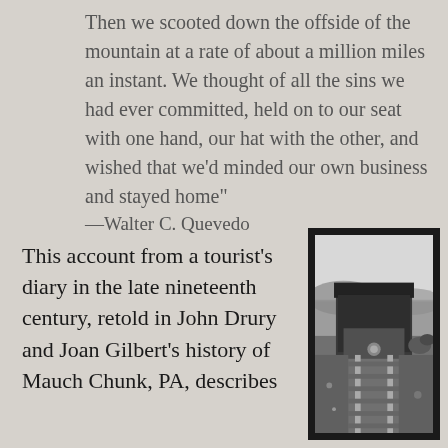Then we scooted down the offside of the mountain at a rate of about a million miles an instant. We thought of all the sins we had ever committed, held on to our seat with one hand, our hat with the other, and wished that we'd minded our own business and stayed home"
—Walter C. Quevedo
This account from a tourist's diary in the late nineteenth century, retold in John Drury and Joan Gilbert's history of Mauch Chunk, PA, describes
[Figure (photo): Black and white historical photograph showing a coal or freight train car on railroad tracks, viewed from in front/below. Rolling hills and open landscape visible in the background under a light sky.]